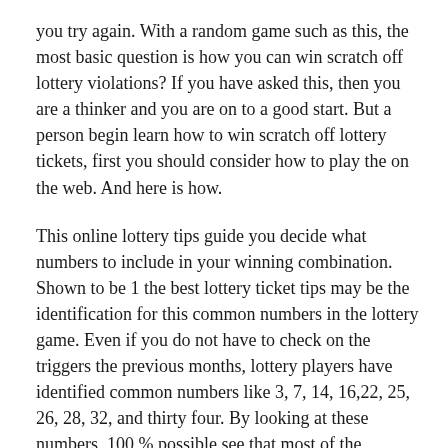you try again. With a random game such as this, the most basic question is how you can win scratch off lottery violations? If you have asked this, then you are a thinker and you are on to a good start. But a person begin learn how to win scratch off lottery tickets, first you should consider how to play the on the web. And here is how.
This online lottery tips guide you decide what numbers to include in your winning combination. Shown to be 1 the best lottery ticket tips may be the identification for this common numbers in the lottery game. Even if you do not have to check on the triggers the previous months, lottery players have identified common numbers like 3, 7, 14, 16,22, 25, 26, 28, 32, and thirty four. By looking at these numbers, 100 % possible see that most of the common numbers are from the 20s. You can include much more two numbers from this list.
One thing that can't ignore may be the fact quite a few